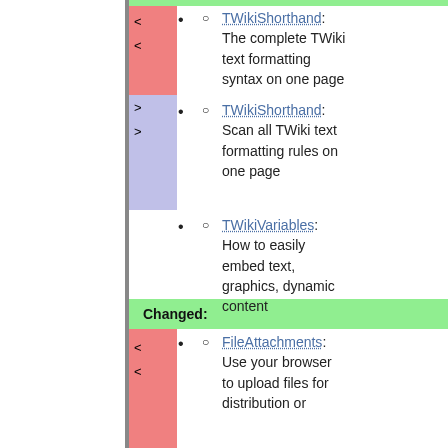TWikiShorthand: The complete TWiki text formatting syntax on one page
TWikiShorthand: Scan all TWiki text formatting rules on one page
TWikiVariables: How to easily embed text, graphics, dynamic content
Changed:
FileAttachments: Use your browser to upload files for distribution or